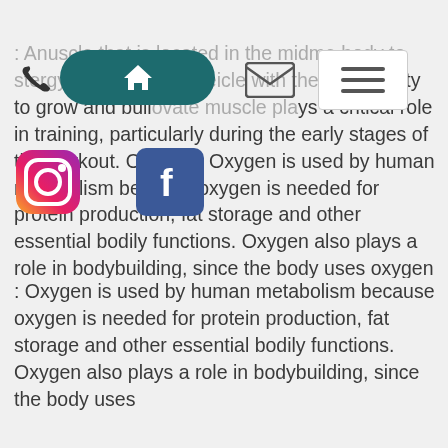: An [muscle] that is located in the mid[dle of the body to st]ore energy and provides the [mus]cle with the opportunity to [g]row and buil[d/inn]ovate muscle plays a critical role in training, particularly during the early stages of the workout. Oxygen : Oxygen is used by human metabolism because oxygen is needed for protein production, fat storage and other essential bodily functions. Oxygen also plays a role in bodybuilding, since the body uses oxygen to stay hydrated and active. Oxygen is required to help the body to heal its damaged cells.
: Oxygen is used by human metabolism because oxygen is needed for protein production, fat storage and other essential bodily functions. Oxygen also plays a role in bodybuilding, since the body uses